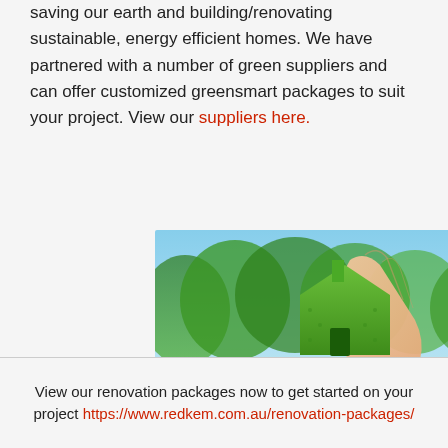saving our earth and building/renovating sustainable, energy efficient homes. We have partnered with a number of green suppliers and can offer customized greensmart packages to suit your project. View our suppliers here.
[Figure (photo): A hand holding a green grass-textured house-shaped cutout against a bright outdoor background with green lawn and trees.]
View our renovation packages now to get started on your project https://www.redkem.com.au/renovation-packages/